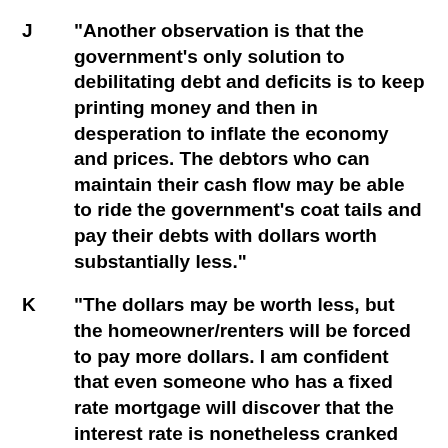J “Another observation is that the government’s only solution to debilitating debt and deficits is to keep printing money and then in desperation to inflate the economy and prices.  The debtors who can maintain their cash flow may be able to ride the government’s coat tails and pay their debts with dollars worth substantially less.”
K “The dollars may be worth less, but the homeowner/renters will be forced to pay more dollars.  I am confident that even someone who has a fixed rate mortgage will discover that the interest rate is nonetheless cranked upward unilaterally by the financial players.  The scandalous LIBOR interest rate scheme is disappearing which may vitiate some loan agreements.  And sure enough, the courts will not